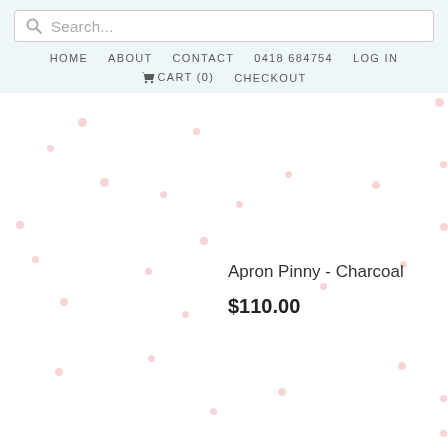Search... HOME ABOUT CONTACT 0418 684754 LOG IN CART (0) CHECKOUT
Apron Pinny - Charcoal
$110.00
[Figure (illustration): White background with scattered small pink polka dots across the lower portion of the page]